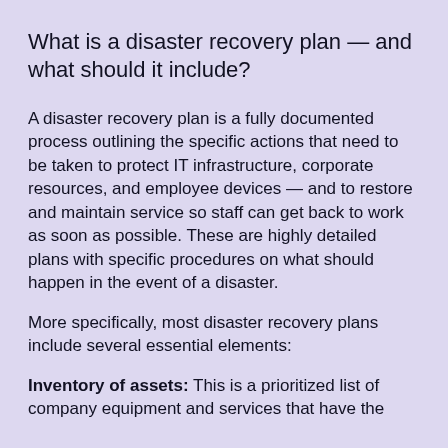What is a disaster recovery plan — and what should it include?
A disaster recovery plan is a fully documented process outlining the specific actions that need to be taken to protect IT infrastructure, corporate resources, and employee devices — and to restore and maintain service so staff can get back to work as soon as possible. These are highly detailed plans with specific procedures on what should happen in the event of a disaster.
More specifically, most disaster recovery plans include several essential elements:
Inventory of assets: This is a prioritized list of company equipment and services that have the